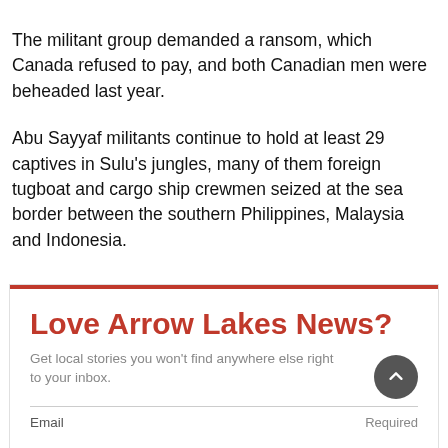The militant group demanded a ransom, which Canada refused to pay, and both Canadian men were beheaded last year.
Abu Sayyaf militants continue to hold at least 29 captives in Sulu's jungles, many of them foreign tugboat and cargo ship crewmen seized at the sea border between the southern Philippines, Malaysia and Indonesia.
Love Arrow Lakes News?
Get local stories you won't find anywhere else right to your inbox.
Email Required